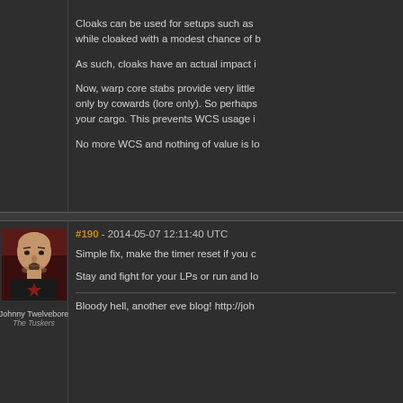Cloaks can be used for setups such as while cloaked with a modest chance of b
As such, cloaks have an actual impact i
Now, warp core stabs provide very little only by cowards (lore only). So perhaps your cargo. This prevents WCS usage i
No more WCS and nothing of value is lo
#190 - 2014-05-07 12:11:40 UTC
Simple fix, make the timer reset if you c
Stay and fight for your LPs or run and lo
Bloody hell, another eve blog! http://joh
[Figure (photo): Avatar portrait of a bald man with goatee wearing a black shirt with red star logo, against a dark red background]
Johnny Twelvebore
The Tuskers